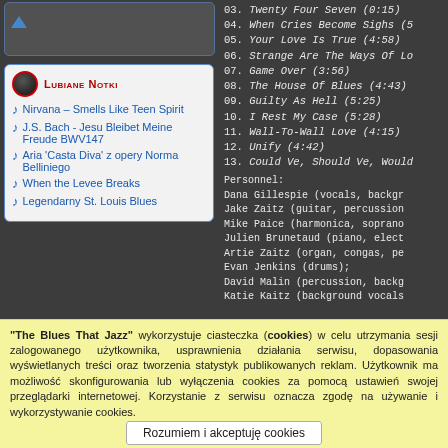Nirvana – Smells Like Teen Spirit
J.S. Bach - Jesu Bleibet Meine Freude BWV147
Aria 'Casta Diva' z opery Norma Belliniego
When the Levee Breaks
Legendarny St. Louis Blues
LUBIANE ALBUMY
03. Twenty Four Seven (0:15)
04. When Cries Become Sighs (5...
05. Your Love Is True (4:58)
06. Strange Are The Ways Of Lo...
07. Game Over (3:56)
08. The House Of Blues (4:43)
09. Guilty As Hell (5:25)
10. I Rest My Case (5:28)
11. Wall-To-Wall Love (4:15)
12. Unify (4:42)
13. Could Ve, Should Ve, Would...
Personnel:
Dana Gillespie (vocals, backgr...
Jake Zaitz (guitar, percussion...
Mike Paice (harmonica, soprano...
Julien Brunetaud (piano, elect...
Artie Zaitz (organ, congas, pe...
Evan Jenkins (drums);
David Malin (percussion, backg...
Katie Kaitz (background vocals...
"The Blues That Jazz" wykorzystuje ciasteczka (cookies) w celu utrzymania sesji zalogowanego użytkownika, usprawnienia działania serwisu, dopasowania wyświetlanych treści oraz tworzenia statystyk publikowanych reklam. Użytkownik ma możliwość skonfigurowania lub wyłączenia cookies za pomocą ustawień swojej przeglądarki internetowej. Korzystanie z serwisu oznacza zgodę na używanie i wykorzystywanie cookies.
Rozumiem i akceptuję cookies